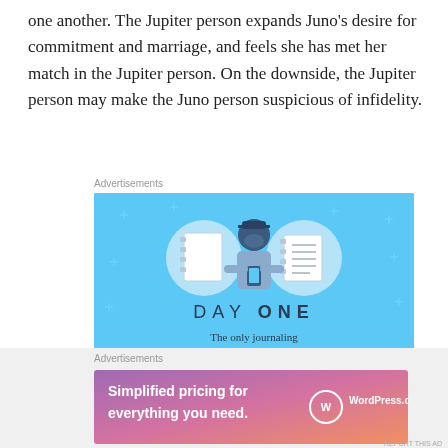one another. The Jupiter person expands Juno's desire for commitment and marriage, and feels she has met her match in the Jupiter person. On the downside, the Jupiter person may make the Juno person suspicious of infidelity.
Advertisements
[Figure (illustration): Day One journaling app advertisement on light blue background. Shows illustrated figure of a person holding a phone, flanked by two circular icons representing notebooks/documents. Text reads 'DAY ONE' and 'The only journaling app you'll ever need.']
Advertisements
[Figure (illustration): WordPress.com advertisement with gradient purple-pink background. Text reads 'Simplified pricing for everything you need.' with WordPress.com logo on the right.]